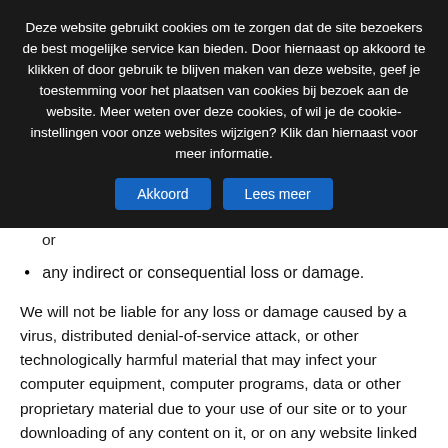Deze website gebruikt cookies om te zorgen dat de site bezoekers de best mogelijke service kan bieden. Door hiernaast op akkoord te klikken of door gebruik te blijven maken van deze website, geef je toestemming voor het plaatsen van cookies bij bezoek aan de website. Meer weten over deze cookies, of wil je de cookie-instellingen voor onze websites wijzigen? Klik dan hiernaast voor meer informatie.
Akkoord | Lees meer
or
any indirect or consequential loss or damage.
We will not be liable for any loss or damage caused by a virus, distributed denial-of-service attack, or other technologically harmful material that may infect your computer equipment, computer programs, data or other proprietary material due to your use of our site or to your downloading of any content on it, or on any website linked to it.
We accept no responsibility for the content of